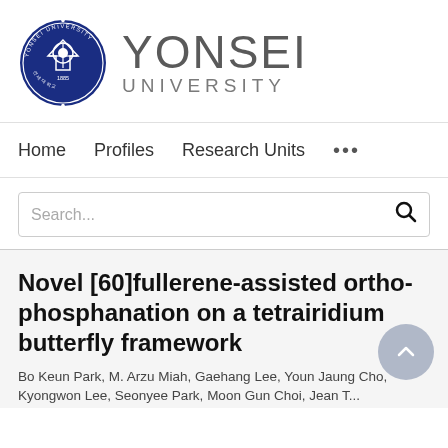[Figure (logo): Yonsei University logo: circular navy blue seal with text 'YONSEI UNIVERSITY' in large gray letters to the right]
Home   Profiles   Research Units   ...
Search...
Novel [60]fullerene-assisted ortho-phosphanation on a tetrairidium butterfly framework
Bo Keun Park, M. Arzu Miah, Gaehang Lee, Youn Jaung Cho, Kyongwon Lee, Seonyee Park, Moon Gun Choi, Jean T...